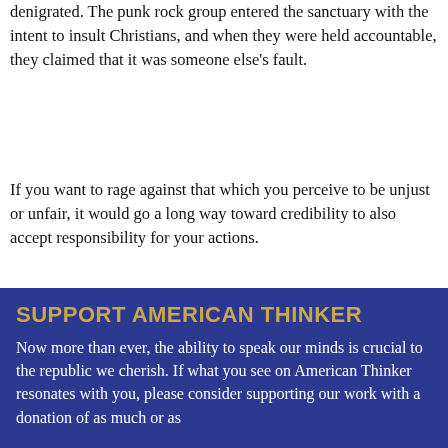denigrated. The punk rock group entered the sanctuary with the intent to insult Christians, and when they were held accountable, they claimed that it was someone else's fault.
If you want to rage against that which you perceive to be unjust or unfair, it would go a long way toward credibility to also accept responsibility for your actions.
Janice Shaw Crouse, senior fellow of Concerned Women for America's Beverly LaHaye Institute, is a leader in the World Congress of Families movement that recently co-sponsored the Moscow Demographic Summit.
SUPPORT AMERICAN THINKER
Now more than ever, the ability to speak our minds is crucial to the republic we cherish. If what you see on American Thinker resonates with you, please consider supporting our work with a donation of as much or as